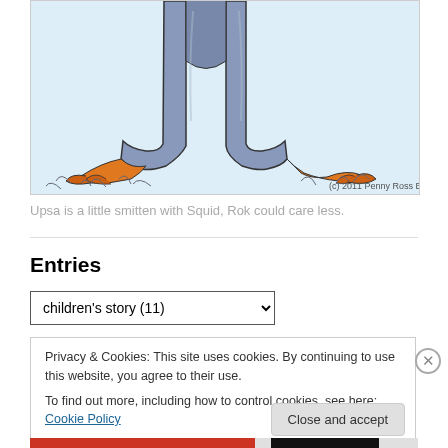[Figure (illustration): Illustration showing the lower body of a figure wearing gray pants/jeans with orange bird feet, standing on light blue background with grass sketches. Copyright notice: (c) 2011 Penny Ross Burk]
Upsa is a little smitten with Squid, Rok could care less.
Entries
children's story  (11)
Privacy & Cookies: This site uses cookies. By continuing to use this website, you agree to their use.
To find out more, including how to control cookies, see here: Cookie Policy